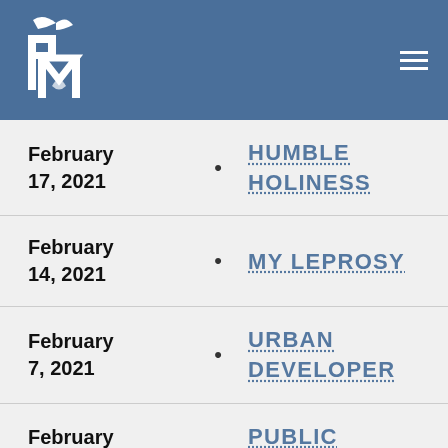[Figure (logo): PM logo with bird and leaf on blue background header bar]
February 17, 2021 • HUMBLE HOLINESS
February 14, 2021 • MY LEPROSY
February 7, 2021 • URBAN DEVELOPER
February 2, 2021 • PUBLIC SPEAKING